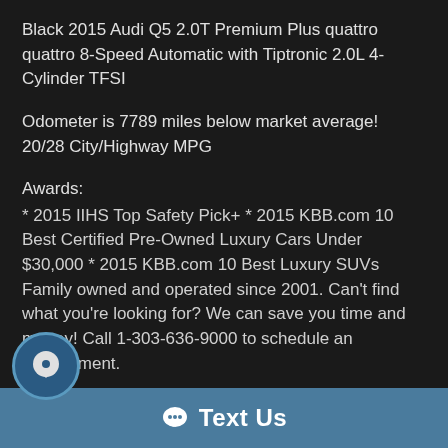Black 2015 Audi Q5 2.0T Premium Plus quattro quattro 8-Speed Automatic with Tiptronic 2.0L 4-Cylinder TFSI
Odometer is 7789 miles below market average! 20/28 City/Highway MPG
Awards:
* 2015 IIHS Top Safety Pick+ * 2015 KBB.com 10 Best Certified Pre-Owned Luxury Cars Under $30,000 * 2015 KBB.com 10 Best Luxury SUVs Family owned and operated since 2001. Can't find what you're looking for? We can save you time and money! Call 1-303-636-9000 to schedule an appointment.
Text Us